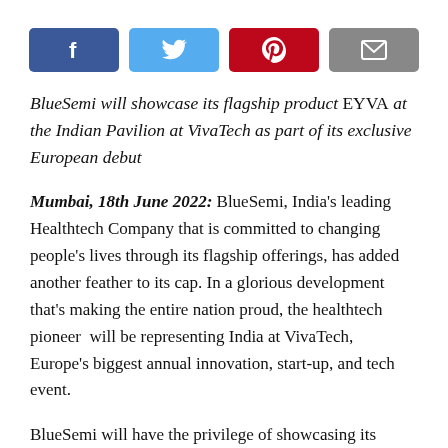[Figure (other): Social share buttons: Facebook (blue), Twitter (light blue), Pinterest (red), Email (grey)]
BlueSemi will showcase its flagship product EYVA at the Indian Pavilion at VivaTech as part of its exclusive European debut
Mumbai, 18th June 2022: BlueSemi, India's leading Healthtech Company that is committed to changing people's lives through its flagship offerings, has added another feather to its cap. In a glorious development that's making the entire nation proud, the healthtech pioneer will be representing India at VivaTech, Europe's biggest annual innovation, start-up, and tech event.
BlueSemi will have the privilege of showcasing its